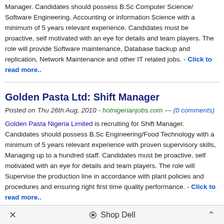Manager. Candidates should possess B.Sc Computer Science/ Software Engineering, Accounting or information Science with a minimum of 5 years relevant experience. Candidates must be proactive, self motivated with an eye for details and team players. The role will provide Software maintenance, Database backup and replication, Network Maintenance and other IT related jobs. - Click to read more..
Golden Pasta Ltd: Shift Manager
Posted on Thu 26th Aug, 2010 - hotnigerianjobs.com --- (0 comments)
Golden Pasta Nigeria Limited is recruiting for Shift Manager. Candidates should possess B.Sc Engineering/Food Technology with a minimum of 5 years relevant experience with proven supervisory skills, Managing up to a hundred staff. Candidates must be proactive, self motivated with an eye for details and team players. The role will Supervise the production line in accordance with plant policies and procedures and ensuring right first time quality performance. - Click to read more..
Shop Dell